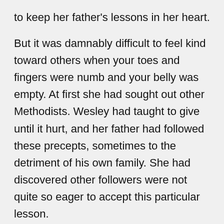to keep her father's lessons in her heart.
But it was damnably difficult to feel kind toward others when your toes and fingers were numb and your belly was empty. At first she had sought out other Methodists. Wesley had taught to give until it hurt, and her father had followed these precepts, sometimes to the detriment of his own family. She had discovered other followers were not quite so eager to accept this particular lesson.
After a few days of starvation, Faith had not been quite so choosy in her search of employment. She applied at houses large and small, to the good Church of England believers and to nonbelievers alike. There had even been a few secret papists, but she had come to realize